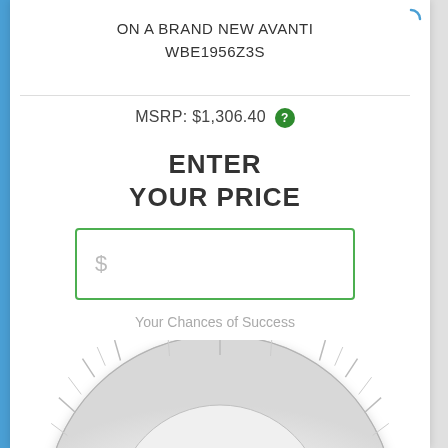ON A BRAND NEW AVANTI WBE1956Z3S
MSRP: $1,306.40 ?
ENTER YOUR PRICE
Your Chances of Success
[Figure (infographic): A semicircular gauge/meter showing chances of success. The gauge is light gray with tick marks. A red needle points to the far left (low) position. The needle pivot has a white circle with a red center dot.]